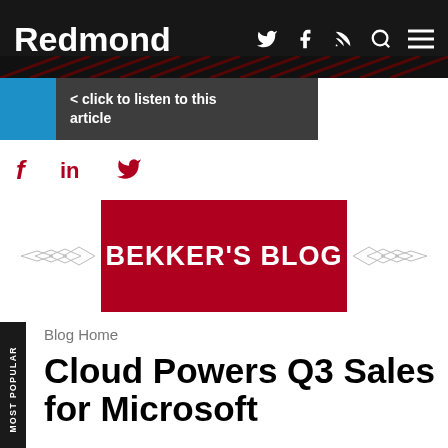Redmond
[Figure (screenshot): Audio player bar with blue play button and text: < click to listen to this article]
[Figure (infographic): Social sharing icons: facebook, linkedin, twitter in dark red]
[Figure (infographic): Bekker's Blog banner in dark red with decorative wings on sides]
Blog Home
Cloud Powers Q3 Sales for Microsoft
[Figure (photo): Partial photo of trees/outdoor scene in sepia/green tones]